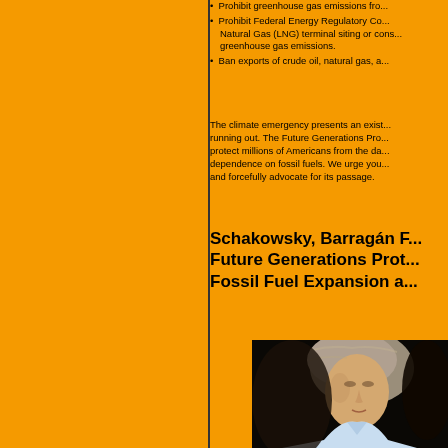• Prohibit greenhouse gas emissions fro...
• Prohibit Federal Energy Regulatory Co... Natural Gas (LNG) terminal siting or cons... greenhouse gas emissions.
• Ban exports of crude oil, natural gas, a...
The climate emergency presents an exist... running out. The Future Generations Pro... protect millions of Americans from the da... dependence on fossil fuels. We urge you... and forcefully advocate for its passage.
Schakowsky, Barragán F... Future Generations Prot... Fossil Fuel Expansion a...
[Figure (photo): Portrait photo of a woman with gray-brown hair against a dark/black background, wearing a light blue collar.]